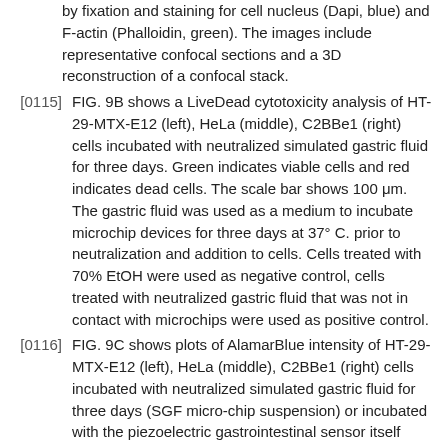by fixation and staining for cell nucleus (Dapi, blue) and F-actin (Phalloidin, green). The images include representative confocal sections and a 3D reconstruction of a confocal stack.
[0115] FIG. 9B shows a LiveDead cytotoxicity analysis of HT-29-MTX-E12 (left), HeLa (middle), C2BBe1 (right) cells incubated with neutralized simulated gastric fluid for three days. Green indicates viable cells and red indicates dead cells. The scale bar shows 100 μm. The gastric fluid was used as a medium to incubate microchip devices for three days at 37° C. prior to neutralization and addition to cells. Cells treated with 70% EtOH were used as negative control, cells treated with neutralized gastric fluid that was not in contact with microchips were used as positive control.
[0116] FIG. 9C shows plots of AlamarBlue intensity of HT-29-MTX-E12 (left), HeLa (middle), C2BBe1 (right) cells incubated with neutralized simulated gastric fluid for three days (SGF micro-chip suspension) or incubated with the piezoelectric gastrointestinal sensor itself (micro-chip). Cells treated with 70% EtOH were used as negative